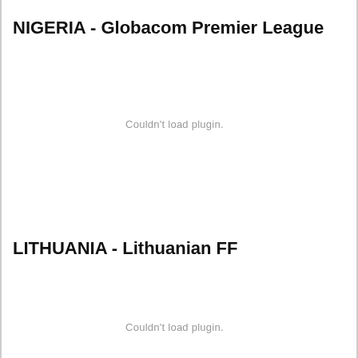NIGERIA - Globacom Premier League
Couldn't load plugin.
LITHUANIA - Lithuanian FF
Couldn't load plugin.